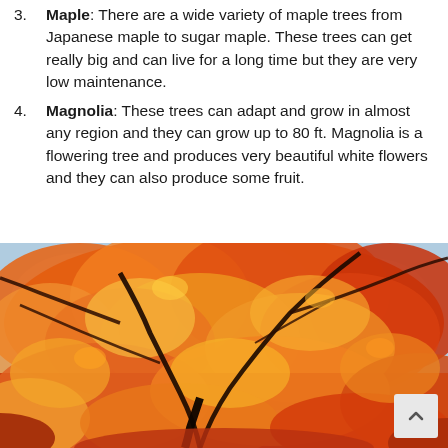Maple: There are a wide variety of maple trees from Japanese maple to sugar maple. These trees can get really big and can live for a long time but they are very low maintenance.
Magnolia: These trees can adapt and grow in almost any region and they can grow up to 80 ft. Magnolia is a flowering tree and produces very beautiful white flowers and they can also produce some fruit.
[Figure (photo): Photograph taken looking up through autumn maple tree canopy with vivid orange, red, and yellow leaves against a blue sky. Dark branches visible. A scroll-to-top button appears in the bottom-right corner.]